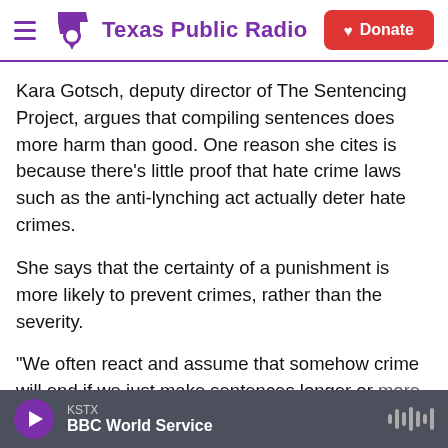Texas Public Radio | Donate
Kara Gotsch, deputy director of The Sentencing Project, argues that compiling sentences does more harm than good. One reason she cites is because there's little proof that hate crime laws such as the anti-lynching act actually deter hate crimes.
She says that the certainty of a punishment is more likely to prevent crimes, rather than the severity.
"We often react and assume that somehow crime will end if we just make sentences longer or
KSTX BBC World Service